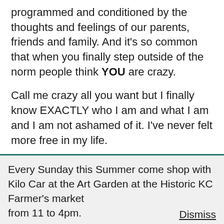programmed and conditioned by the thoughts and feelings of our parents, friends and family. And it's so common that when you finally step outside of the norm people think YOU are crazy.
Call me crazy all you want but I finally know EXACTLY who I am and what I am and I am not ashamed of it. I've never felt more free in my life.
Everyone's spiritual journey is different however. You may not find yourself on a mirroring path like
Every Sunday this Summer come shop with Kilo Car at the Art Garden at the Historic KC Farmer's market from 11 to 4pm.    Dismiss